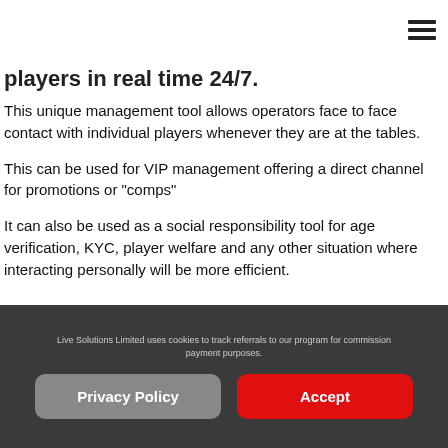players in real time 24/7.
This unique management tool allows operators face to face contact with individual players whenever they are at the tables.
This can be used for VIP management offering a direct channel for promotions or "comps"
It can also be used as a social responsibility tool for age verification, KYC, player welfare and any other situation where interacting personally will be more efficient.
Live Solutions Limited uses cookies to track referrals to our program for commission payment purposes.
Privacy Policy
Accept